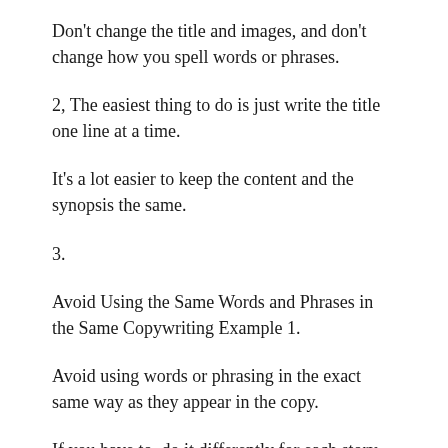Don't change the title and images, and don't change how you spell words or phrases.
2, The easiest thing to do is just write the title one line at a time.
It's a lot easier to keep the content and the synopsis the same.
3.
Avoid Using the Same Words and Phrases in the Same Copywriting Example 1.
Avoid using words or phrasing in the exact same way as they appear in the copy.
If you have to, do it differently for each story.